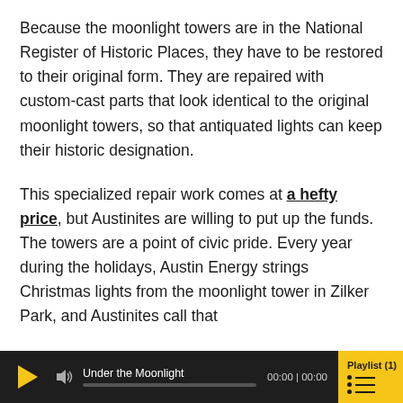Because the moonlight towers are in the National Register of Historic Places, they have to be restored to their original form. They are repaired with custom-cast parts that look identical to the original moonlight towers, so that antiquated lights can keep their historic designation.

This specialized repair work comes at a hefty price, but Austinites are willing to put up the funds. The towers are a point of civic pride. Every year during the holidays, Austin Energy strings Christmas lights from the moonlight tower in Zilker Park, and Austinites call that
[Figure (other): Audio player bar at the bottom with play button, volume icon, track title 'Under the Moonlight', progress bar, time display '00:00 | 00:00', and Playlist(1) button on yellow background.]